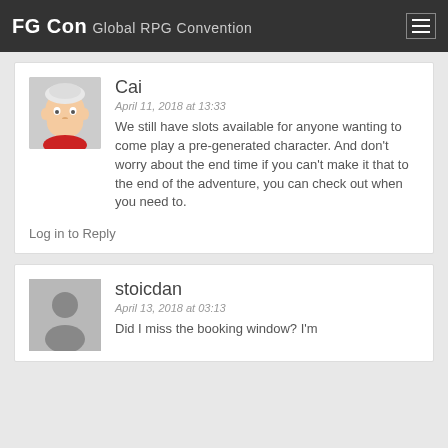FG Con Global RPG Convention
Cai
April 11, 2018 at 13:33
We still have slots available for anyone wanting to come play a pre-generated character. And don't worry about the end time if you can't make it that to the end of the adventure, you can check out when you need to.
Log in to Reply
stoicdan
April 13, 2018 at 03:13
Did I miss the booking window? I'm